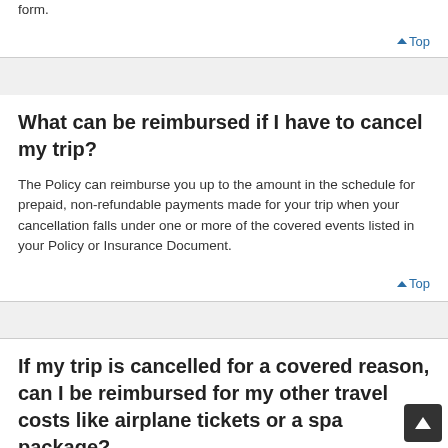form.
▲ Top
What can be reimbursed if I have to cancel my trip?
The Policy can reimburse you up to the amount in the schedule for prepaid, non-refundable payments made for your trip when your cancellation falls under one or more of the covered events listed in your Policy or Insurance Document.
▲ Top
If my trip is cancelled for a covered reason, can I be reimbursed for my other travel costs like airplane tickets or a spa package?